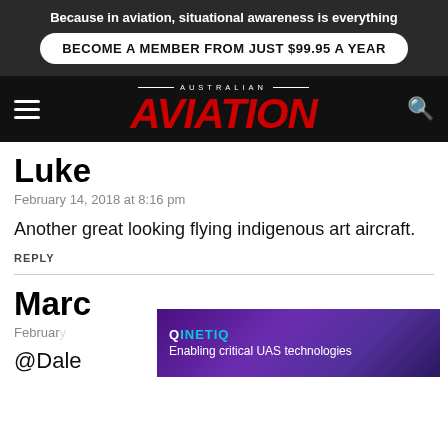Because in aviation, situational awareness is everything
BECOME A MEMBER FROM JUST $99.95 A YEAR
[Figure (logo): Australian Aviation logo with red italic AVIATION text on black background]
Luke
February 14, 2018 at 8:16 pm
Another great looking flying indigenous art aircraft.
REPLY
Marc
February
@Dale
[Figure (screenshot): QinetiQ advertisement: Enabling critical UAS technologies]